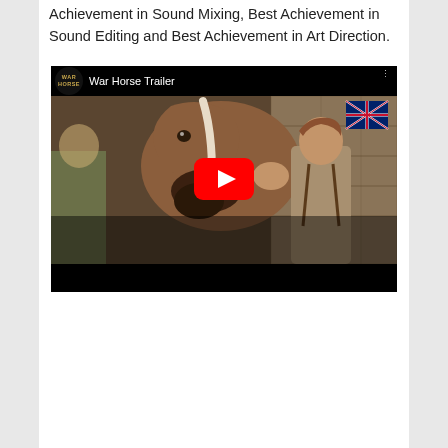Achievement in Sound Mixing, Best Achievement in Sound Editing and Best Achievement in Art Direction.
[Figure (screenshot): YouTube video thumbnail for 'War Horse Trailer' showing a young man with a horse, with the YouTube play button overlay. The WAR HORSE logo and video title appear in the top bar.]